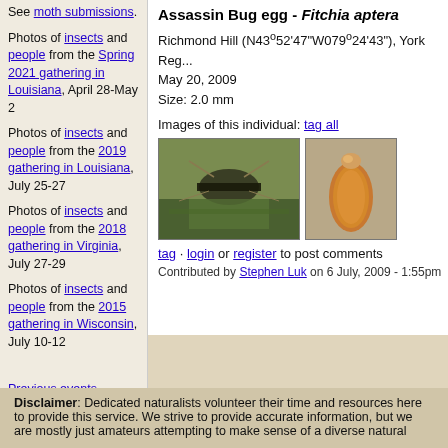See moth submissions.
Photos of insects and people from the Spring 2021 gathering in Louisiana, April 28-May 2
Photos of insects and people from the 2019 gathering in Louisiana, July 25-27
Photos of insects and people from the 2018 gathering in Virginia, July 27-29
Photos of insects and people from the 2015 gathering in Wisconsin, July 10-12
Previous events
Assassin Bug egg - Fitchia aptera
Richmond Hill (N43°52'47"W079°24'43"), York Reg... May 20, 2009 Size: 2.0 mm
Images of this individual: tag all
[Figure (photo): Photo of assassin bug on green plant]
[Figure (photo): Photo of amber/orange assassin bug egg]
tag · login or register to post comments
Contributed by Stephen Luk on 6 July, 2009 - 1:55pm
Disclaimer: Dedicated naturalists volunteer their time and resources here to provide this service. We strive to provide accurate information, but we are mostly just amateurs attempting to make sense of a diverse natural